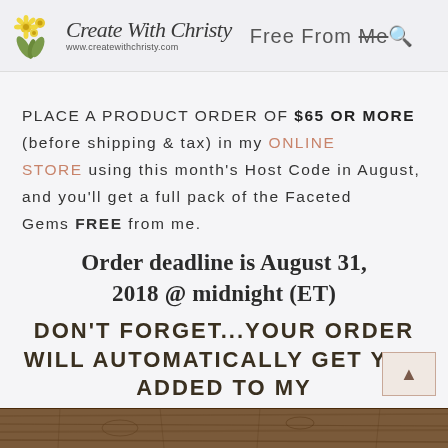Create With Christy www.createwithchristy.com  Free From  Me
PLACE A PRODUCT ORDER OF $65 OR MORE (before shipping & tax) in my ONLINE STORE using this month's Host Code in August, and you'll get a full pack of the Faceted Gems FREE from me.
Order deadline is August 31, 2018 @ midnight (ET)
DON'T FORGET...YOUR ORDER WILL AUTOMATICALLY GET YOU ADDED TO MY
[Figure (photo): Wood plank surface texture at the bottom of the page]